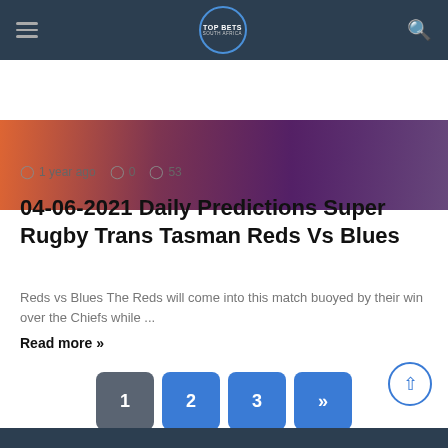Top Bets South Africa — navigation bar with hamburger menu, logo, and search icon
[Figure (photo): Cropped sports/rugby photo showing players in colorful jerseys]
1 year ago  0  53
04-06-2021 Daily Predictions Super Rugby Trans Tasman Reds Vs Blues
Reds vs Blues The Reds will come into this match buoyed by their win over the Chiefs while ...
Read more »
Pagination: 1  2  3  »
Dark footer bar